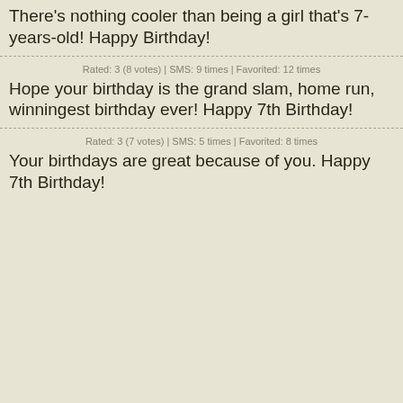There's nothing cooler than being a girl that's 7-years-old! Happy Birthday!
Rated: 3 (8 votes) | SMS: 9 times | Favorited: 12 times
Hope your birthday is the grand slam, home run, winningest birthday ever! Happy 7th Birthday!
Rated: 3 (7 votes) | SMS: 5 times | Favorited: 8 times
Your birthdays are great because of you. Happy 7th Birthday!